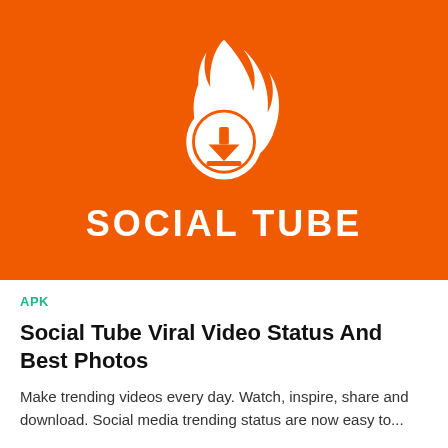[Figure (logo): Orange banner with white flame icon containing a download circle arrow symbol, and bold white text reading SOCIAL TUBE below the flame]
APK
Social Tube Viral Video Status And Best Photos
Make trending videos every day. Watch, inspire, share and download. Social media trending status are now easy to...